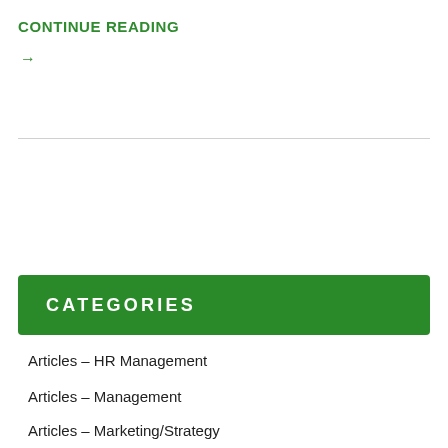CONTINUE READING
→
CATEGORIES
Articles – HR Management
Articles – Management
Articles – Marketing/Strategy